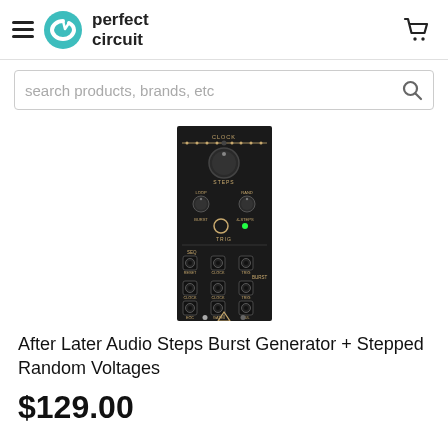perfect circuit
[Figure (photo): After Later Audio Steps Burst Generator + Stepped Random Voltages Eurorack module — a tall narrow black panel with knobs, jacks, and gold labeling including CLOCK, STEPS, LOOP, RAND, BURST, TRIG, SEQ, and BURST sections]
After Later Audio Steps Burst Generator + Stepped Random Voltages
$129.00